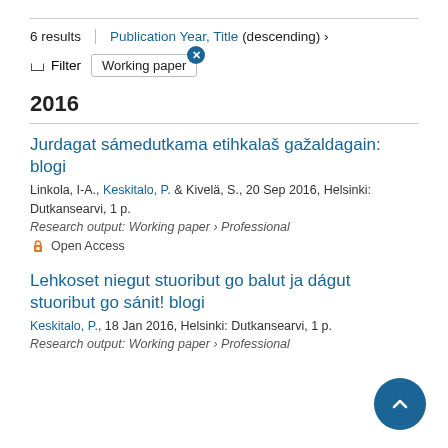6 results | Publication Year, Title (descending) ›
Filter  Working paper ×
2016
Jurdagat sámedutkama etihkalaš gažaldagain: blogi
Linkola, I-A., Keskitalo, P. & Kivelä, S., 20 Sep 2016, Helsinki: Dutkansearvi, 1 p.
Research output: Working paper › Professional
Open Access
Lehkoset niegut stuoribut go balut ja dágut stuoribut go sánit! blogi
Keskitalo, P., 18 Jan 2016, Helsinki: Dutkansearvi, 1 p.
Research output: Working paper › Professional